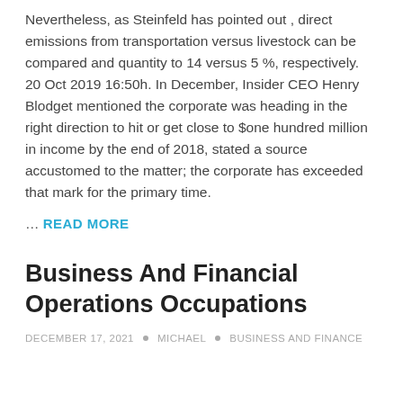Nevertheless, as Steinfeld has pointed out , direct emissions from transportation versus livestock can be compared and quantity to 14 versus 5 %, respectively. 20 Oct 2019 16:50h. In December, Insider CEO Henry Blodget mentioned the corporate was heading in the right direction to hit or get close to $one hundred million in income by the end of 2018, stated a source accustomed to the matter; the corporate has exceeded that mark for the primary time.
… READ MORE
Business And Financial Operations Occupations
DECEMBER 17, 2021 • MICHAEL • BUSINESS AND FINANCE